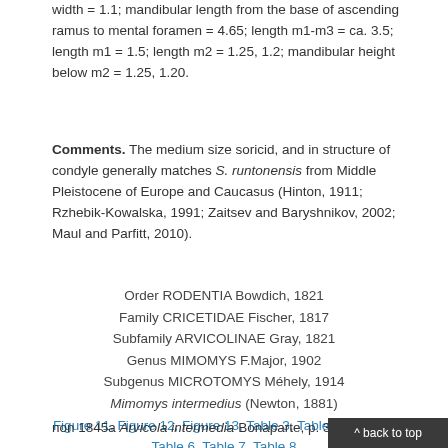width = 1.1; mandibular length from the base of ascending ramus to mental foramen = 4.65; length m1-m3 = ca. 3.5; length m1 = 1.5; length m2 = 1.25, 1.2; mandibular height below m2 = 1.25, 1.20.
Comments. The medium size soricid, and in structure of condyle generally matches S. runtonensis from Middle Pleistocene of Europe and Caucasus (Hinton, 1911; Rzhebik-Kowalska, 1991; Zaitsev and Baryshnikov, 2002; Maul and Parfitt, 2010).
Order RODENTIA Bowdich, 1821
Family CRICETIDAE Fischer, 1817
Subfamily ARVICOLINAE Gray, 1821
Genus MIMOMYS F.Major, 1902
Subgenus MICROTOMYS Méhely, 1914
Mimomys intermedius (Newton, 1881)
Figure 11, Figure 12, Figure 13, Table 3, Table 4, Table 5, Table 6, Table 7, Table 8
non 1845a Arvicola intermedia Bonaparte, p. 350;